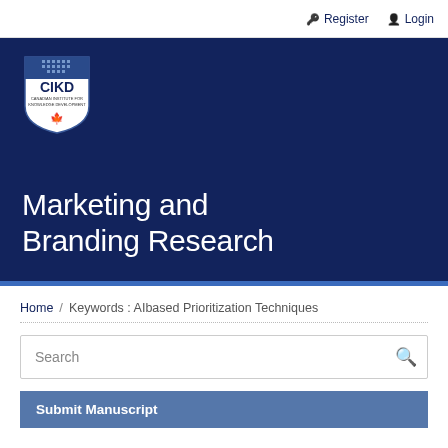Register  Login
[Figure (logo): CIKD shield logo — Canadian Institute for Knowledge Development]
Marketing and Branding Research
Home / Keywords : AIbased Prioritization Techniques
Search
Submit Manuscript